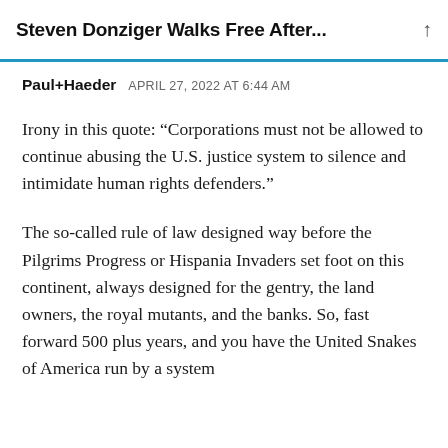Steven Donziger Walks Free After...
Paul+Haeder   APRIL 27, 2022 AT 6:44 AM
Irony in this quote: “Corporations must not be allowed to continue abusing the U.S. justice system to silence and intimidate human rights defenders.”
The so-called rule of law designed way before the Pilgrims Progress or Hispania Invaders set foot on this continent, always designed for the gentry, the land owners, the royal mutants, and the banks. So, fast forward 500 plus years, and you have the United Snakes of America run by a system